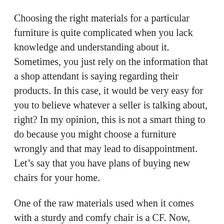Choosing the right materials for a particular furniture is quite complicated when you lack knowledge and understanding about it. Sometimes, you just rely on the information that a shop attendant is saying regarding their products. In this case, it would be very easy for you to believe whatever a seller is talking about, right? In my opinion, this is not a smart thing to do because you might choose a furniture wrongly and that may lead to disappointment. Let’s say that you have plans of buying new chairs for your home.
One of the raw materials used when it comes with a sturdy and comfy chair is a CF. Now, check the products or designs that are available in the shops. For example, you may go online and search from the listing. As you browse each model from the list, it is also a must to think, if this one will suit your home or not.
Since you are aware that the models, which you are looking at are made of carbon fiber, you should be interested in